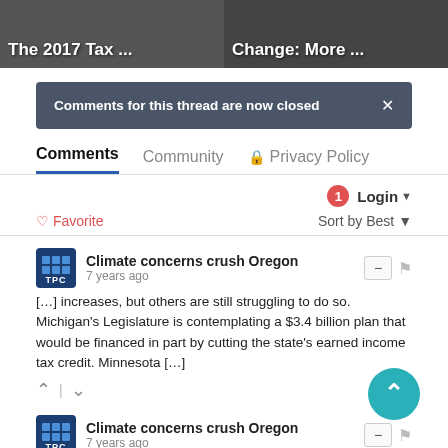[Figure (screenshot): Two thumbnail images side by side: left shows 'The 2017 Tax ...' and right shows 'Change: More ...' with dark overlay text]
Comments for this thread are now closed
Comments   Community   Privacy Policy
Login ▾
♡ Favorite   Sort by Best ▾
Climate concerns crush Oregon
7 years ago
[…] increases, but others are still struggling to do so. Michigan's Legislature is contemplating a $3.4 billion plan that would be financed in part by cutting the state's earned income tax credit. Minnesota […]
Climate concerns crush Oregon
7 years ago